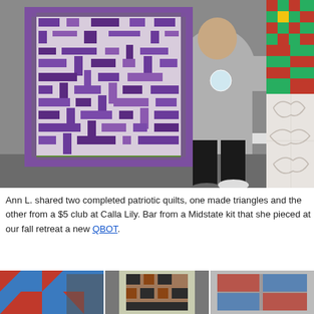[Figure (photo): Person holding up a large purple and white patchwork quilt with green border, standing in what appears to be a community center or meeting room]
[Figure (photo): Partial view of a red and green Christmas-themed quilt on the right side]
[Figure (photo): Partial view of a light colored quilt with floral pattern on the right side bottom]
Ann L. shared two completed patriotic quilts, one made triangles and the other from a $5 club at Calla Lily. Bar from a Midstate kit that she pieced at our fall retreat a new QBOT.
[Figure (photo): Bottom row of quilt photos showing three partial quilt images]